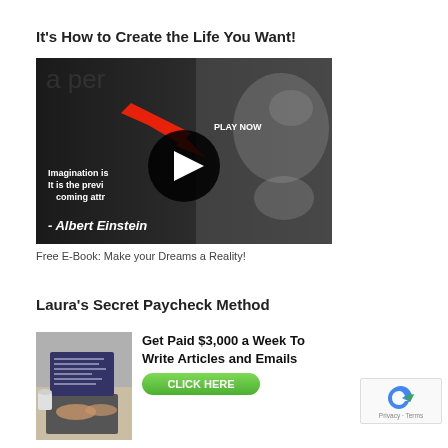It's How to Create the Life You Want!
[Figure (screenshot): Video thumbnail showing Albert Einstein in black and white with text 'Imagination is... It is the previ... coming attr...' and '- Albert Einstein', a red arrow pointing to a PLAY NOW button with a play triangle icon.]
Free E-Book: Make your Dreams a Reality!
Laura's Secret Paycheck Method
[Figure (photo): Person typing on a laptop with a coffee cup nearby]
Get Paid $3,000 a Week To Write Articles and Emails
CLICK HERE